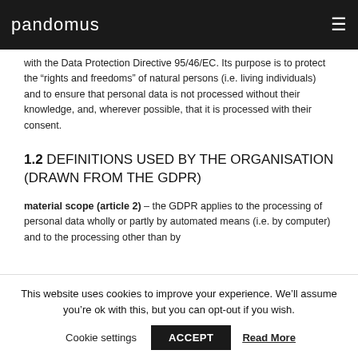pandomus
with the Data Protection Directive 95/46/EC. Its purpose is to protect the “rights and freedoms” of natural persons (i.e. living individuals) and to ensure that personal data is not processed without their knowledge, and, wherever possible, that it is processed with their consent.
1.2 DEFINITIONS USED BY THE ORGANISATION (DRAWN FROM THE GDPR)
material scope (article 2) – the GDPR applies to the processing of personal data wholly or partly by automated means (i.e. by computer) and to the processing other than by
This website uses cookies to improve your experience. We’ll assume you’re ok with this, but you can opt-out if you wish.
Cookie settings   ACCEPT   Read More